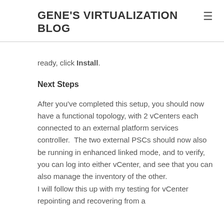GENE'S VIRTUALIZATION BLOG
ready, click Install.
Next Steps
After you've completed this setup, you should now have a functional topology, with 2 vCenters each connected to an external platform services controller.  The two external PSCs should now also be running in enhanced linked mode, and to verify, you can log into either vCenter, and see that you can also manage the inventory of the other.
I will follow this up with my testing for vCenter repointing and recovering from a